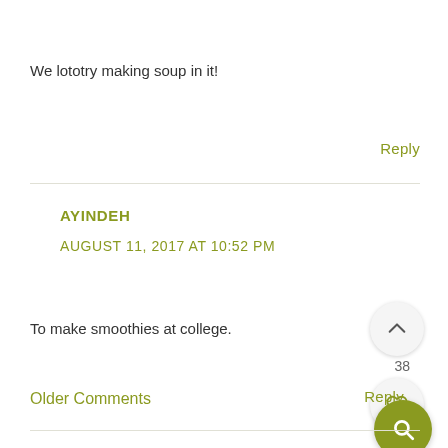We lototry making soup in it!
Reply
AYINDEH
AUGUST 11, 2017 AT 10:52 PM
To make smoothies at college.
38
Reply
Older Comments